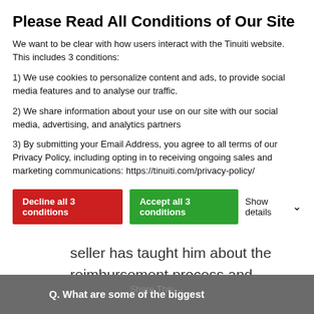Please Read All Conditions of Our Site
We want to be clear with how users interact with the Tinuiti website. This includes 3 conditions:
1) We use cookies to personalize content and ads, to provide social media features and to analyse our traffic.
2) We share information about your use on our site with our social media, advertising, and analytics partners
3) By submitting your Email Address, you agree to all terms of our Privacy Policy, including opting in to receiving ongoing sales and marketing communications: https://tinuiti.com/privacy-policy/
Decline all 3 conditions | Accept all 3 conditions | Show details
experience as an Amazon seller has taught him about the reimbursement process and why he decided to create the AMZSuite platform to help other sellers.
Q. What are some of the biggest